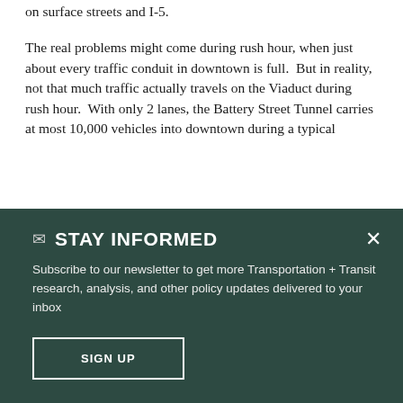on surface streets and I-5.
The real problems might come during rush hour, when just about every traffic conduit in downtown is full.  But in reality, not that much traffic actually travels on the Viaduct during rush hour.  With only 2 lanes, the Battery Street Tunnel carries at most 10,000 vehicles into downtown during a typical
STAY INFORMED
Subscribe to our newsletter to get more Transportation + Transit research, analysis, and other policy updates delivered to your inbox